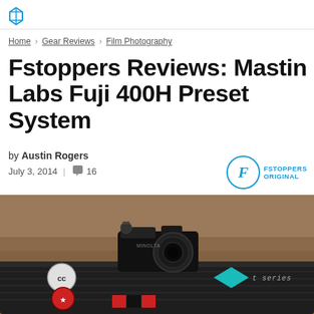Fstoppers logo icon
Home > Gear Reviews > Film Photography
Fstoppers Reviews: Mastin Labs Fuji 400H Preset System
by Austin Rogers
July 3, 2014  |  16
[Figure (logo): Fstoppers Original badge with circular F logo in blue]
[Figure (photo): A black film camera (Minolta) sitting on top of a black Pelican case with stickers including Creative Commons and diamond logos, on a sandy surface]